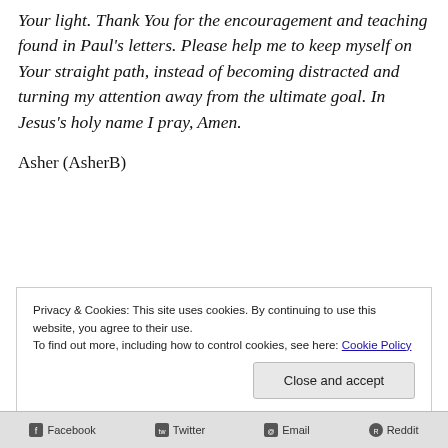Your light. Thank You for the encouragement and teaching found in Paul's letters. Please help me to keep myself on Your straight path, instead of becoming distracted and turning my attention away from the ultimate goal. In Jesus's holy name I pray, Amen.
Asher (AsherB)
Privacy & Cookies: This site uses cookies. By continuing to use this website, you agree to their use.
To find out more, including how to control cookies, see here: Cookie Policy
Close and accept
Facebook   Twitter   Email   Reddit